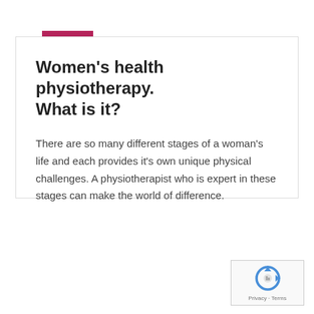JUNE 19, 2019
Women's health physiotherapy. What is it?
There are so many different stages of a woman's life and each provides it's own unique physical challenges. A physiotherapist who is expert in these stages can make the world of difference.
[Figure (logo): Google reCAPTCHA widget with spinning arrow logo and Privacy/Terms text]